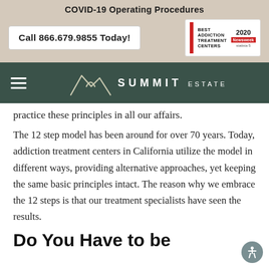COVID-19 Operating Procedures
Call 866.679.9855 Today!
[Figure (logo): Best Addiction Treatment Centers 2020 Newsweek Statista award badge]
[Figure (logo): Summit Estate logo with mountain outline and text SUMMIT ESTATE]
practice these principles in all our affairs.
The 12 step model has been around for over 70 years. Today, addiction treatment centers in California utilize the model in different ways, providing alternative approaches, yet keeping the same basic principles intact. The reason why we embrace the 12 steps is that our treatment specialists have seen the results.
Do You Have to be